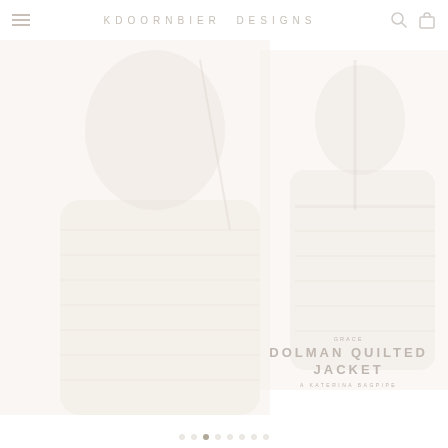KDOORNBIER DESIGNS
[Figure (photo): Faded/washed-out photograph of a person wearing a quilted jacket, shown in two overlapping views. Left half shows a close-up front view; right half shows a back or side view. Images are very light, almost white.]
GRACE
DOLMAN QUILTED
JACKET
A KATERINA BAGPIPE